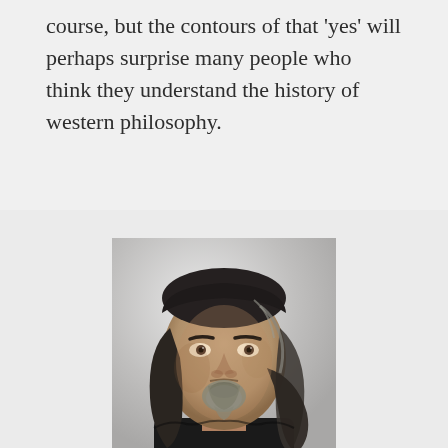course, but the contours of that 'yes' will perhaps surprise many people who think they understand the history of western philosophy.
[Figure (photo): Portrait photograph of a middle-aged man with long dark hair streaked with grey, pulled back, and a grey goatee beard. He is wearing a black top and looking directly at the camera with a serious expression. Light grey/white background.]